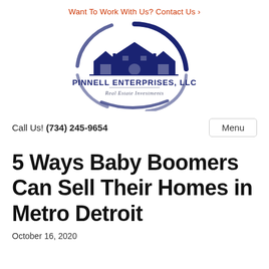Want To Work With Us? Contact Us ›
[Figure (logo): Pinnell Enterprises, LLC Real Estate Investments logo with house rooftop silhouette and circular swoosh]
Call Us! (734) 245-9654
Menu
5 Ways Baby Boomers Can Sell Their Homes in Metro Detroit
October 16, 2020